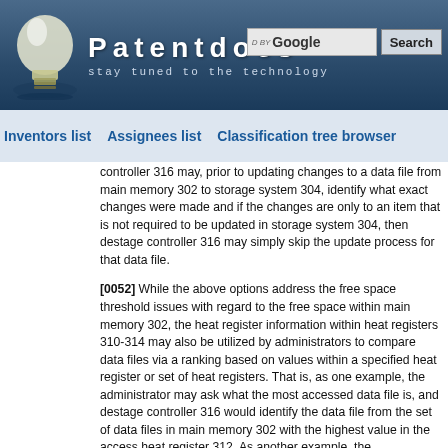[Figure (screenshot): Patentdocs website header with lightbulb logo, site name, tagline 'stay tuned to the technology', and Google search box with Search button]
Inventors list   Assignees list   Classification tree browser
controller 316 may, prior to updating changes to a data file from main memory 302 to storage system 304, identify what exact changes were made and if the changes are only to an item that is not required to be updated in storage system 304, then destage controller 316 may simply skip the update process for that data file.
[0052] While the above options address the free space threshold issues with regard to the free space within main memory 302, the heat register information within heat registers 310-314 may also be utilized by administrators to compare data files via a ranking based on values within a specified heat register or set of heat registers. That is, as one example, the administrator may ask what the most accessed data file is, and destage controller 316 would identify the data file from the set of data files in main memory 302 with the highest value in the access heat register 312. As another example, the administrator may ask which file has the most changes, and destage controller 316 would identify the data file in the set of data files in main memory